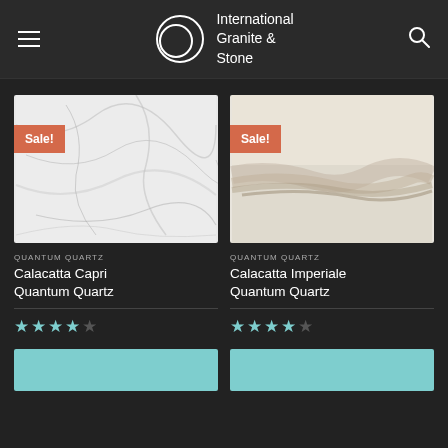International Granite & Stone
[Figure (photo): White marble texture with grey veining — Calacatta Capri Quantum Quartz product image with Sale! badge]
QUANTUM QUARTZ
Calacatta Capri Quantum Quartz
[Figure (photo): Beige/cream stone texture — Calacatta Imperiale Quantum Quartz product image with Sale! badge]
QUANTUM QUARTZ
Calacatta Imperiale Quantum Quartz
[Figure (photo): Teal/mint colored product thumbnail strip at bottom left]
[Figure (photo): Teal/mint colored product thumbnail strip at bottom right]